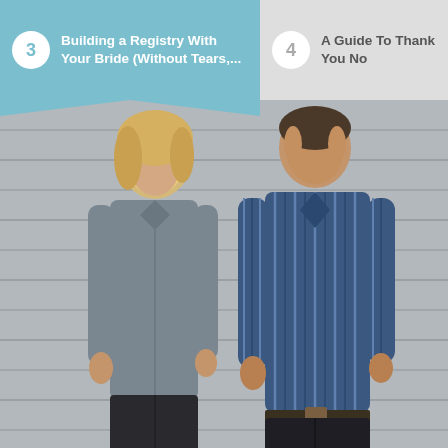3  Building a Registry With Your Bride (Without Tears,...   4  A Guide To Thank You No
[Figure (photo): A man and a woman standing side by side in front of a garage door with horizontal slats. The woman is on the left wearing a gray denim shirt and black pants with blonde hair. The man is on the right wearing a blue and white striped button-up shirt and dark pants.]
WEDDING REGISTRIES
How to Get Cash, Not Vases.
In virtually every gift-giving scenario, we are conditioned to give something personal,...